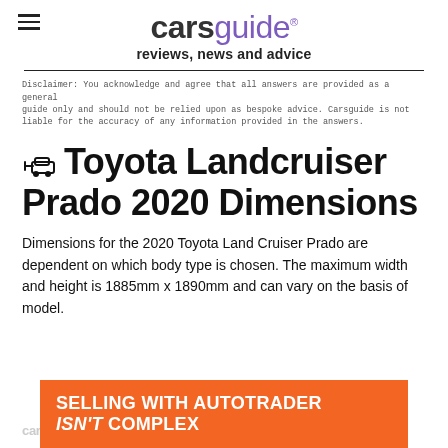carsguide® reviews, news and advice
Disclaimer: You acknowledge and agree that all answers are provided as a general guide only and should not be relied upon as bespoke advice. Carsguide is not liable for the accuracy of any information provided in the answers.
Toyota Landcruiser Prado 2020 Dimensions
Dimensions for the 2020 Toyota Land Cruiser Prado are dependent on which body type is chosen. The maximum width and height is 1885mm x 1890mm and can vary on the basis of model.
[Figure (other): Orange AutoTrader advertisement banner reading 'SELLING WITH AUTOTRADER ISN'T COMPLEX']